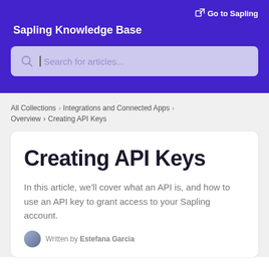Go to Sapling
Sapling Knowledge Base
[Figure (screenshot): Search bar with placeholder text 'Search for articles...']
All Collections > Integrations and Connected Apps > Overview > Creating API Keys
Creating API Keys
In this article, we'll cover what an API is, and how to use an API key to grant access to your Sapling account.
Written by Estefana Garcia